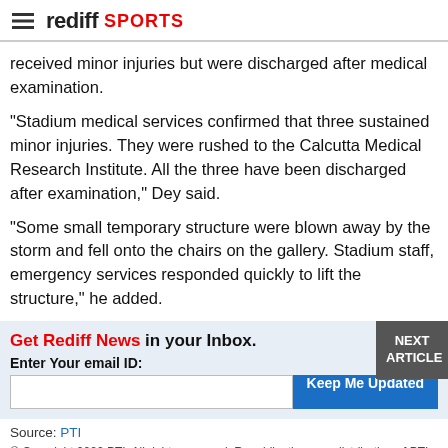rediff SPORTS
received minor injuries but were discharged after medical examination.
"Stadium medical services confirmed that three sustained minor injuries. They were rushed to the Calcutta Medical Research Institute. All the three have been discharged after examination," Dey said.
"Some small temporary structure were blown away by the storm and fell onto the chairs on the gallery. Stadium staff, emergency services responded quickly to lift the structure," he added.
Get Rediff News in your Inbox. Enter Your email ID: Keep Me Updated NEXT ARTICLE
Source: PTI
© Copyright 2022 PTI. All rights reserved. Republication or redistribution of PTI content, including by framing or similar means, is expressly prohibited without the prior written consent.